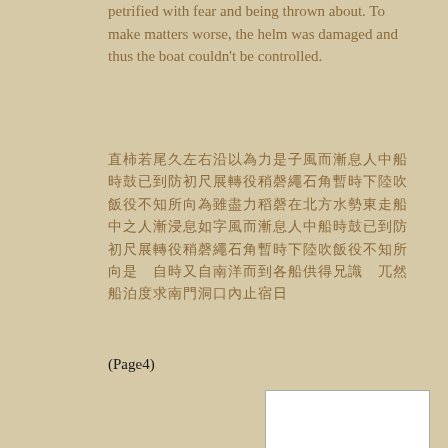petrified with fear and being thrown about. To make matters worse, the helm was damaged and thus the boat couldn't be controlled.
（Chinese text block describing the sea voyage situation）
(Page4)
[Figure (photo): A handwritten manuscript page in classical Chinese, written vertically in columns from right to left.]